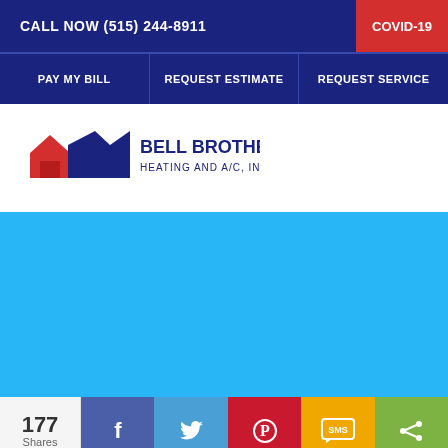CALL NOW (515) 244-8911
COVID-19
PAY MY BILL
REQUEST ESTIMATE
REQUEST SERVICE
[Figure (logo): Bell Brothers Heating and A/C, Inc. logo with red house and blue arrow shapes]
[Figure (photo): Solid light blue/cyan content area]
177 Shares
[Figure (infographic): Social sharing bar with Facebook, Twitter, Pinterest, SMS, and share buttons]